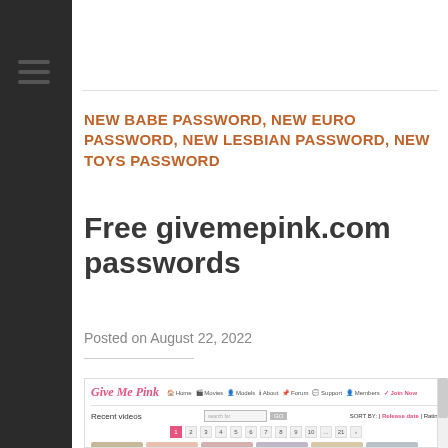NEW BABE PASSWORD, NEW EURO PASSWORD, NEW LESBIAN PASSWORD, NEW TOYS PASSWORD
Free givemepink.com passwords
Posted on August 22, 2022
[Figure (screenshot): Screenshot of givemepink.com website showing navigation bar with logo, menu items (Home, Movies, Models, About, Forum, Support, Members, Join Now), Recent Videos section with search and sort controls, pagination, and thumbnail images.]